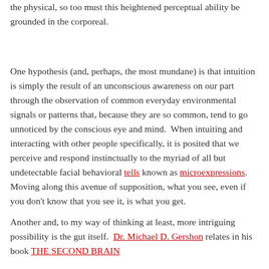the physical, so too must this heightened perceptual ability be grounded in the corporeal.
One hypothesis (and, perhaps, the most mundane) is that intuition is simply the result of an unconscious awareness on our part through the observation of common everyday environmental signals or patterns that, because they are so common, tend to go unnoticed by the conscious eye and mind.  When intuiting and interacting with other people specifically, it is posited that we perceive and respond instinctually to the myriad of all but undetectable facial behavioral tells known as microexpressions.  Moving along this avenue of supposition, what you see, even if you don't know that you see it, is what you get.
Another and, to my way of thinking at least, more intriguing possibility is the gut itself.  Dr. Michael D. Gershon relates in his book THE SECOND BRAIN